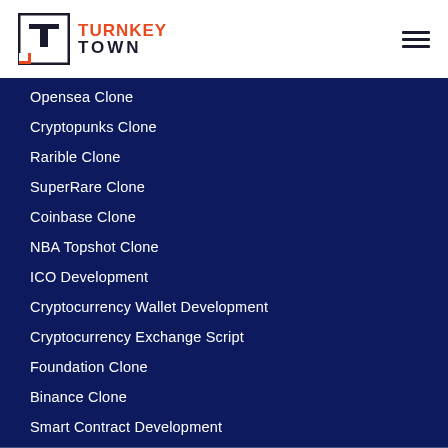Turnkey Town
Opensea Clone
Cryptopunks Clone
Rarible Clone
SuperRare Clone
Coinbase Clone
NBA Topshot Clone
ICO Development
Cryptocurrency Wallet Development
Cryptocurrency Exchange Script
Foundation Clone
Binance Clone
Smart Contract Development